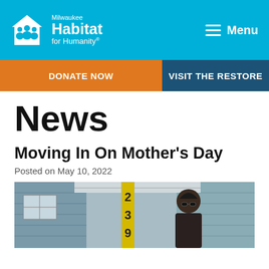Milwaukee Habitat for Humanity — Menu
DONATE NOW
VISIT THE RESTORE
News
Moving In On Mother's Day
Posted on May 10, 2022
[Figure (photo): Person standing in front of a house with address numbers 239 visible on a yellow post, blue-gray siding in background]